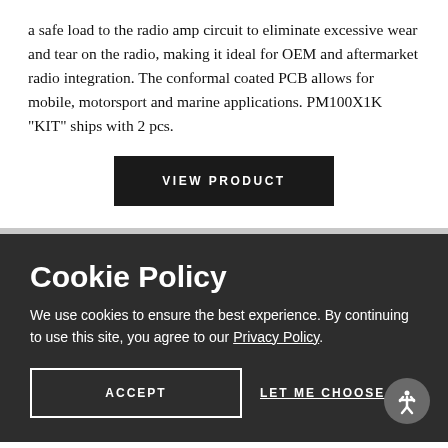a safe load to the radio amp circuit to eliminate excessive wear and tear on the radio, making it ideal for OEM and aftermarket radio integration. The conformal coated PCB allows for mobile, motorsport and marine applications. PM100X1K "KIT" ships with 2 pcs.
VIEW PRODUCT
Cookie Policy
We use cookies to ensure the best experience. By continuing to use this site, you agree to our Privacy Policy.
ACCEPT
LET ME CHOOSE